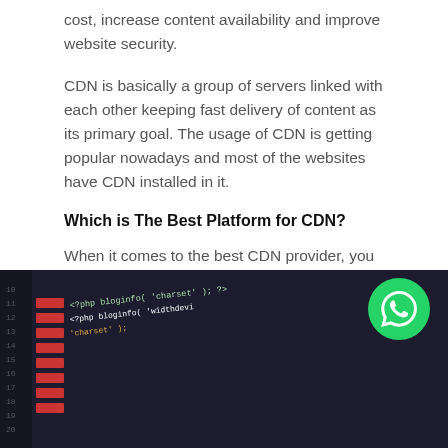cost, increase content availability and improve website security.
CDN is basically a group of servers linked with each other keeping fast delivery of content as its primary goal. The usage of CDN is getting popular nowadays and most of the websites have CDN installed in it.
Which is The Best Platform for CDN?
When it comes to the best CDN provider, you can trust on Cloudflare to get a private Content Delivery Network for your website.
3. Minify Website's CSS and JS Files
[Figure (photo): Close-up photograph of a computer screen showing colorful code (PHP/HTML markup) on a dark background, with syntax highlighting in green, red, yellow, and white.]